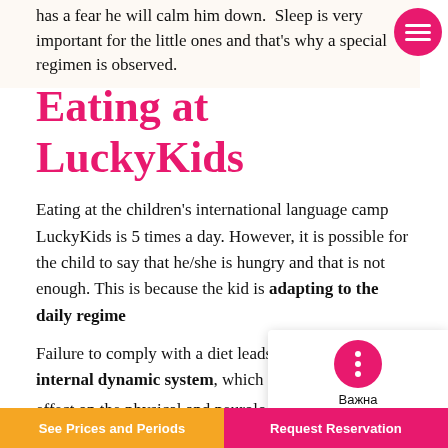has a fear he will calm him down. Sleep is very important for the little ones and that's why a special regimen is observed.
Eating at LuckyKids
Eating at the children's international language camp LuckyKids is 5 times a day. However, it is possible for the child to say that he/she is hungry and that is not enough. This is because the kid is adapting to the daily regime
Failure to comply with a diet leads to disturbance internal dynamic system, which in turn causes negative effect on the physical and neurological and psychological development of the child. When the daily routine is properly
See Prices and Periods | Request Reservation